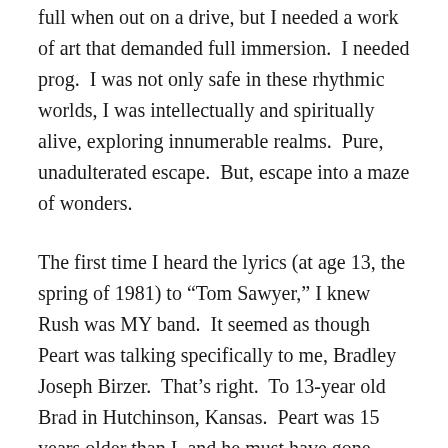full when out on a drive, but I needed a work of art that demanded full immersion.  I needed prog.  I was not only safe in these rhythmic worlds, I was intellectually and spiritually alive, exploring innumerable realms.  Pure, unadulterated escape.  But, escape into a maze of wonders.
The first time I heard the lyrics (at age 13, the spring of 1981) to “Tom Sawyer,” I knew Rush was MY band.  It seemed as though Peart was talking specifically to me, Bradley Joseph Birzer.  That’s right.  To 13-year old Brad in Hutchinson, Kansas.  Peart was 15 years older than I, and he must have gone through the same things I had.  Or so I thought.  Again, I knew him only through his lyrics.  But, did I ever cherish those lyrics.  I